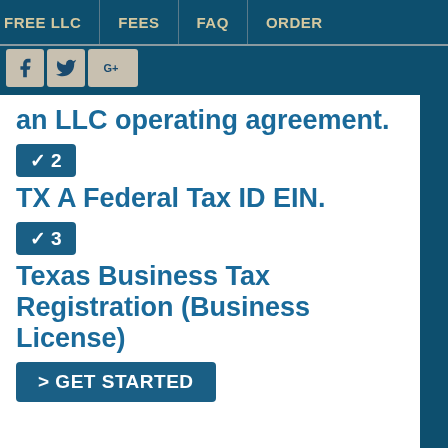FREE LLC   FEES   FAQ   ORDER
an LLC operating agreement.
✓ 2
TX A Federal Tax ID EIN.
✓ 3
Texas Business Tax Registration (Business License)
> GET STARTED